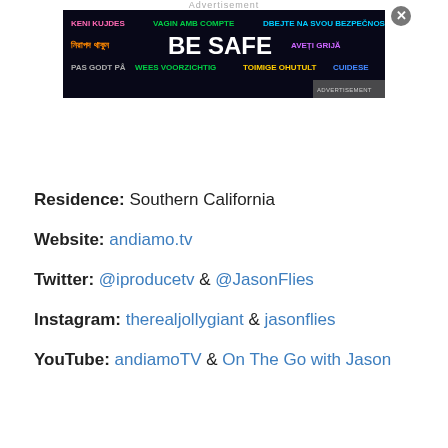Advertisement
[Figure (infographic): BE SAFE advertisement banner with multilingual safety phrases on dark background]
Residence: Southern California
Website: andiamo.tv
Twitter: @iproducetv & @JasonFlies
Instagram: therealjollygiant & jasonflies
YouTube: andiamoTV & On The Go with Jason